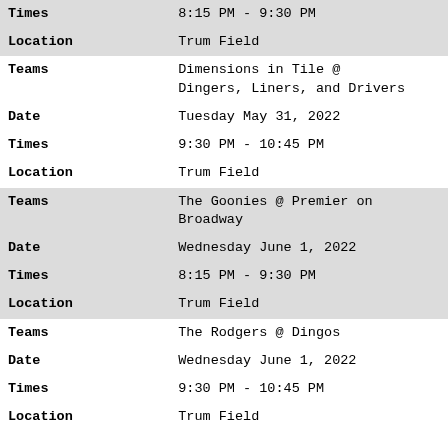| Field | Value |
| --- | --- |
| Times | 8:15 PM - 9:30 PM |
| Location | Trum Field |
| Teams | Dimensions in Tile @ Dingers, Liners, and Drivers |
| Date | Tuesday May 31, 2022 |
| Times | 9:30 PM - 10:45 PM |
| Location | Trum Field |
| Teams | The Goonies @ Premier on Broadway |
| Date | Wednesday June 1, 2022 |
| Times | 8:15 PM - 9:30 PM |
| Location | Trum Field |
| Teams | The Rodgers @ Dingos |
| Date | Wednesday June 1, 2022 |
| Times | 9:30 PM - 10:45 PM |
| Location | Trum Field |